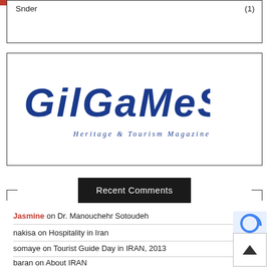Snder (1)
[Figure (logo): Gilgamesh Heritage & Tourism Magazine logo in blue with stylized text]
Recent Comments
Jasmine on Dr. Manouchehr Sotoudeh
nakisa on Hospitality in Iran
somaye on Tourist Guide Day in IRAN, 2013
baran on About IRAN
baran on About IRAN